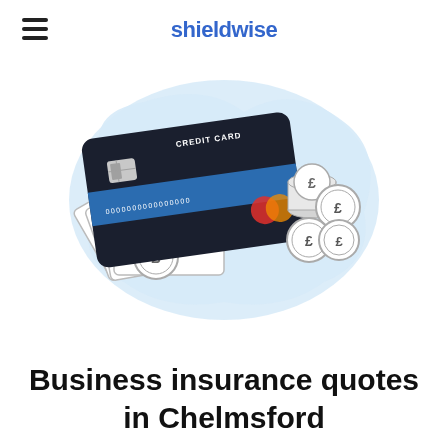shieldwise
[Figure (illustration): Illustration of a dark credit card with blue stripe and coin/currency symbols, paper bills, and pound sterling coins arranged on a light blue blob background shape]
Business insurance quotes in Chelmsford